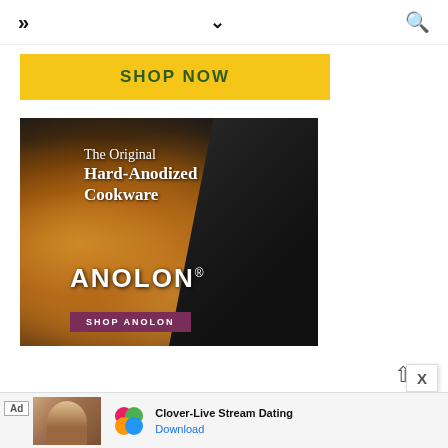>> navigation | ˅ | 🔍
[Figure (illustration): Yellow 'SHOP NOW' button banner]
[Figure (photo): Anolon cookware advertisement showing hard-anodized pan with chicken dish. Text overlay: 'The Original Hard-Anodized Cookware', brand name 'ANOLON', and 'SHOP ANOLON' button on dark purple background.]
[Figure (other): Clover-Live Stream Dating app advertisement at bottom of screen with download link]